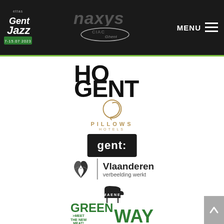[Figure (logo): Gent Jazz festival logo - white text on dark background, top left of header]
[Figure (logo): Naxys logo - large italic text in header center]
[Figure (logo): CIAC Gent logo - oval shape with text, header center]
[Figure (logo): MENU hamburger button top right]
[Figure (logo): HoGent university logo - large bold black text HO GENT]
[Figure (logo): Pillows Hotels logo - decorative Q symbol with PILLOWS HOTELS text in gold]
[Figure (logo): gent: city logo - white text on black rounded rectangle]
[Figure (logo): Vlaanderen verbeelding werkt logo - lion emblem with text]
[Figure (logo): Maene piano logo - grand piano silhouette with MAENE text]
[Figure (logo): Greenway Meet the New Meat logo - green bold text]